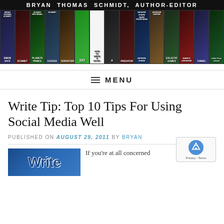[Figure (illustration): Website header banner for Bryan Thomas Schmidt, Author-Editor showing a collage of book covers]
MENU
Write Tip: Top 10 Tips For Using Social Media Well
PUBLISHED ON August 29, 2011 by Bryan
[Figure (photo): Write Tip image in blue block letters]
If you're at all concerned